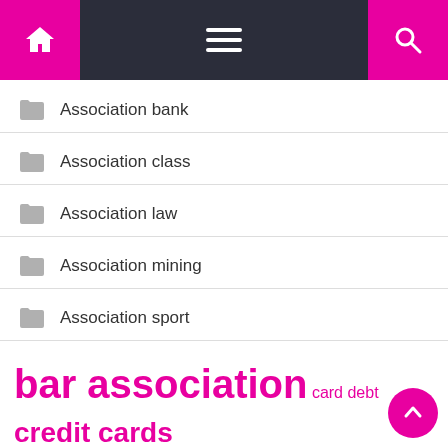Navigation bar with home, menu, and search icons
Association bank
Association class
Association law
Association mining
Association sport
bar association  card debt  credit cards  credit score  debt consolidation  high school  interest rates  law school